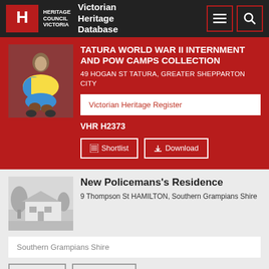Victorian Heritage Database
TATURA WORLD WAR II INTERNMENT AND POW CAMPS COLLECTION
49 HOGAN ST TATURA, GREATER SHEPPARTON CITY
Victorian Heritage Register
VHR H2373
New Policemans's Residence
9 Thompson St HAMILTON, Southern Grampians Shire
Southern Grampians Shire